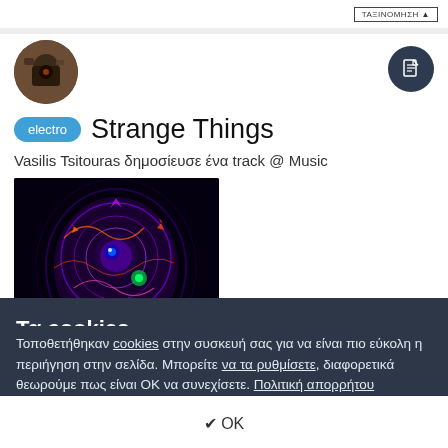ΤΑΞΙΝΟΜΗΣΗ
[Figure (photo): Circular profile avatar photo of a person with camera equipment, dark tones]
[Figure (illustration): Dark circle button with document/page icon in white]
electro  Strange Things
Vasilis Tsitouras δημοσίευσε ένα track @ Music
[Figure (photo): Psychedelic colorful digital art of a robot/alien head with circuit patterns, purple and green tones on black background]
Τα cookies
Τοποθετήθηκαν cookies στην συσκευή σας για να είναι πιο εύκολη η περιήγηση στην σελίδα. Μπορείτε να τα ρυθμίσετε, διαφορετικά θεωρούμε πως είναι OK να συνεχίσετε. Πολιτική απορρήτου
✔ OK